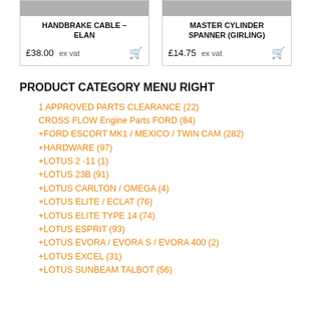[Figure (photo): Product card image for Handbrake Cable – Elan, grey background]
HANDBRAKE CABLE – ELAN
£38.00 ex vat
[Figure (photo): Product card image for Master Cylinder Spanner (Girling), grey background]
MASTER CYLINDER SPANNER (GIRLING)
£14.75 ex vat
PRODUCT CATEGORY MENU RIGHT
1 APPROVED PARTS CLEARANCE (22)
CROSS FLOW Engine Parts FORD (84)
+FORD ESCORT MK1 / MEXICO / TWIN CAM (282)
+HARDWARE (97)
+LOTUS 2 -11 (1)
+LOTUS 23B (91)
+LOTUS CARLTON / OMEGA (4)
+LOTUS ELITE / ECLAT (76)
+LOTUS ELITE TYPE 14 (74)
+LOTUS ESPRIT (93)
+LOTUS EVORA / EVORA S / EVORA 400 (2)
+LOTUS EXCEL (31)
+LOTUS SUNBEAM TALBOT (56)